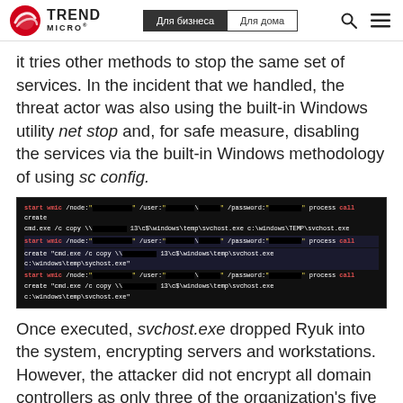Trend Micro — navigation header with logo, Для бизнеса, Для дома, search and menu icons
it tries other methods to stop the same set of services. In the incident that we handled, the threat actor was also using the built-in Windows utility net stop and, for safe measure, disabling the services via the built-in Windows methodology of using sc config.
[Figure (screenshot): Terminal/command prompt screenshot showing obfuscated commands including start wmic /node references, cmd.exe /c copy commands, with redacted IP addresses and credentials, related to svchost.exe and sysvhost.exe operations.]
Once executed, svchost.exe dropped Ryuk into the system, encrypting servers and workstations. However, the attacker did not encrypt all domain controllers as only three of the organization's five domain controllers were found to be encrypted.